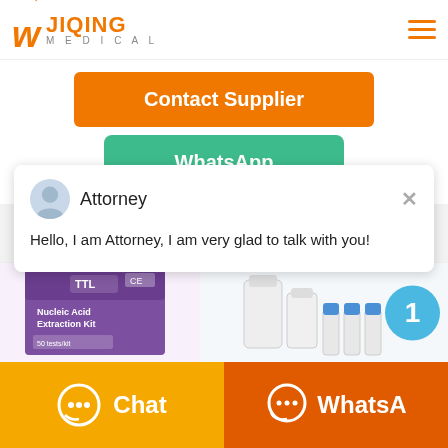[Figure (logo): Jiqing Medical logo with orange W and text]
Contact Supplier
WhatsApp
[Figure (screenshot): Chat popup with Attorney avatar saying: Hello, I am Attorney, I am very glad to talk with you!]
Attorney
Hello, I am Attorney, I am very glad to talk with you!
[Figure (photo): Nucleic Acid Extraction Kit product box (purple)]
[Figure (photo): Medical vials and containers product photo]
Chat
WhatsA